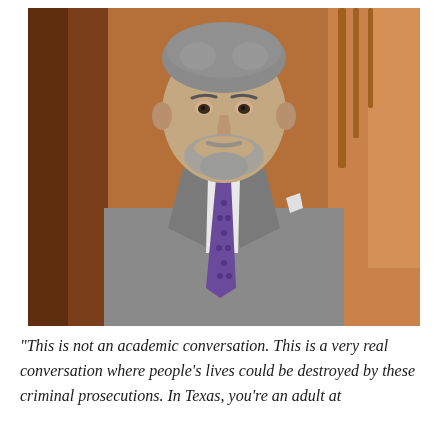[Figure (photo): Professional headshot of a middle-aged man with gray hair and a salt-and-pepper beard, wearing a gray suit, white dress shirt, and a purple patterned tie with a white pocket square. He is posed in front of a warm-toned wood-paneled interior background.]
“This is not an academic conversation. This is a very real conversation where people’s lives could be destroyed by these criminal prosecutions. In Texas, you’re an adult at